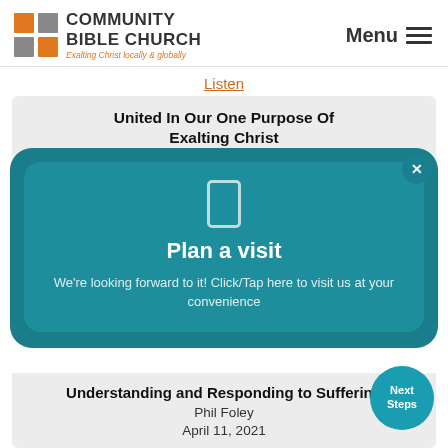[Figure (logo): Community Bible Church logo with orange and grey square tiles icon, bold uppercase text 'COMMUNITY BIBLE CHURCH', italic tagline 'Exalting Christ locally & globally', and Menu hamburger icon on the right]
Listen
United In Our One Purpose Of Exalting Christ
[Figure (infographic): Teal rounded modal popup with phone icon, bold white text 'Plan a visit', subtext 'We're looking forward to it! Click/Tap here to visit us at your convenience', and a close X button in top-right corner]
Understanding and Responding to Suffering
Phil Foley
April 11, 2021
[Figure (infographic): Teal circular 'Next Steps' button in bottom right]